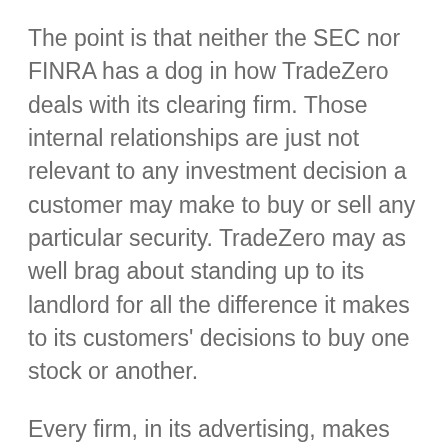The point is that neither the SEC nor FINRA has a dog in how TradeZero deals with its clearing firm. Those internal relationships are just not relevant to any investment decision a customer may make to buy or sell any particular security. TradeZero may as well brag about standing up to its landlord for all the difference it makes to its customers' decisions to buy one stock or another.
Every firm, in its advertising, makes itself out to be "better" than the next -- one listens better, another is smarter, a third works harder, a fourth talks plainer, a fifth won't make money at your expense, you name it. Those all are little lies, and we all know it. None of them is whiter or blacker than TradeZero bragging to be a